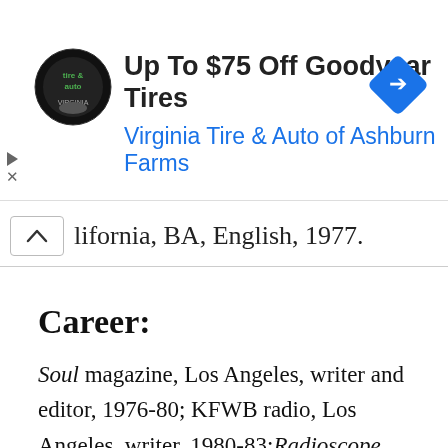[Figure (infographic): Advertisement banner for Virginia Tire & Auto of Ashburn Farms promoting Up To $75 Off Goodyear Tires, with circular logo on left and blue navigation diamond icon on right]
lifornia, BA, English, 1977.
Career:
Soul magazine, Los Angeles, writer and editor, 1976-80; KFWB radio, Los Angeles, writer, 1980-83;Radioscope, Los Angeles, 1983-86; Westwood One, Inc., Culver City, CA, writer, 1989-91; extensive freelance music journalism, 1970s and 1980s; Miami Herald, Miami, FL, music writer, 1991-95; columnist, 1995–; Scripps Howard Visiting Professional, Hampton University